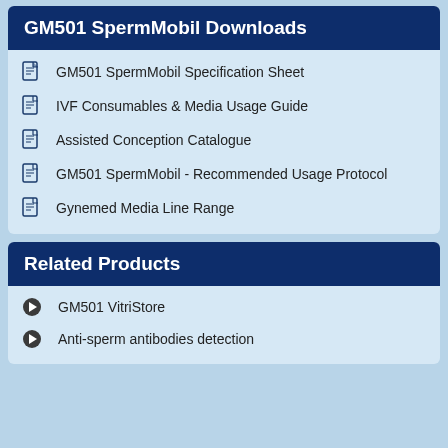GM501 SpermMobil Downloads
GM501 SpermMobil Specification Sheet
IVF Consumables & Media Usage Guide
Assisted Conception Catalogue
GM501 SpermMobil - Recommended Usage Protocol
Gynemed Media Line Range
Related Products
GM501 VitriStore
Anti-sperm antibodies detection